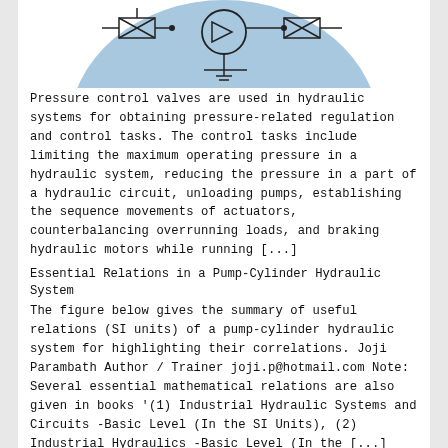[Figure (schematic): Top portion of a hydraulic circuit diagram with blue circular background showing pump, valve and actuator symbols]
Pressure control valves are used in hydraulic systems for obtaining pressure-related regulation and control tasks. The control tasks include limiting the maximum operating pressure in a hydraulic system, reducing the pressure in a part of a hydraulic circuit, unloading pumps, establishing the sequence movements of actuators, counterbalancing overrunning loads, and braking hydraulic motors while running [...]
Essential Relations in a Pump-Cylinder Hydraulic System
The figure below gives the summary of useful relations (SI units) of a pump-cylinder hydraulic system for highlighting their correlations. Joji Parambath Author / Trainer joji.p@hotmail.com Note: Several essential mathematical relations are also given in books '(1) Industrial Hydraulic Systems and Circuits -Basic Level (In the SI Units), (2) Industrial Hydraulics -Basic Level (In the [...]
Pneumatic Stepper Sequencer – Design and Operating Principles
[Figure (schematic): Two side-by-side pneumatic circuit diagrams with dashed borders showing stepper sequencer components]